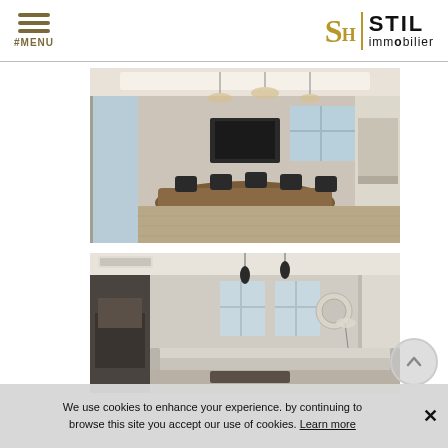#MENU | STIL immobilier
[Figure (photo): Interior render of a modern luxury dining room with large table, chairs, pendant lights and open plan kitchen]
[Figure (photo): Interior render of a luxury living room with sofas, pendant lights, and windows]
We use cookies to enhance your experience. by continuing to browse this site you accept our use of cookies. Learn more